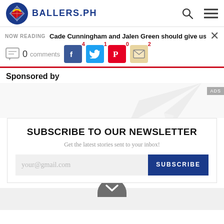BALLERS.PH
NOW READING  Cade Cunningham and Jalen Green should give us plenty of
0 comments  4 (Facebook) 1 (Twitter) 0 (Pinterest) 2 (Email)
Sponsored by
SUBSCRIBE TO OUR NEWSLETTER
Get the latest stories sent to your inbox!
your@gmail.com  SUBSCRIBE